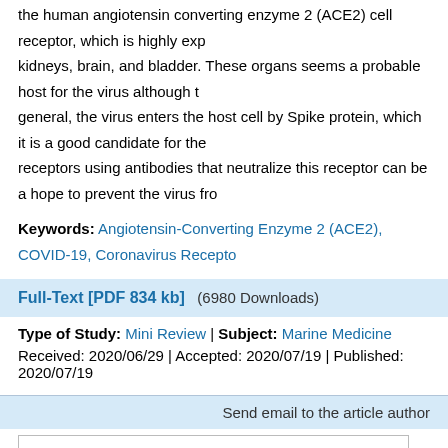the human angiotensin converting enzyme 2 (ACE2) cell receptor, which is highly expressed in kidneys, brain, and bladder. These organs seems a probable host for the virus although in general, the virus enters the host cell by Spike protein, which it is a good candidate for the receptors using antibodies that neutralize this receptor can be a hope to prevent the virus from
Keywords: Angiotensin-Converting Enzyme 2 (ACE2), COVID-19, Coronavirus Receptor
Full-Text [PDF 834 kb]   (6980 Downloads)
Type of Study: Mini Review | Subject: Marine Medicine
Received: 2020/06/29 | Accepted: 2020/07/19 | Published: 2020/07/19
Send email to the article author
Submit
Add your comments about this article
Your username or Email: